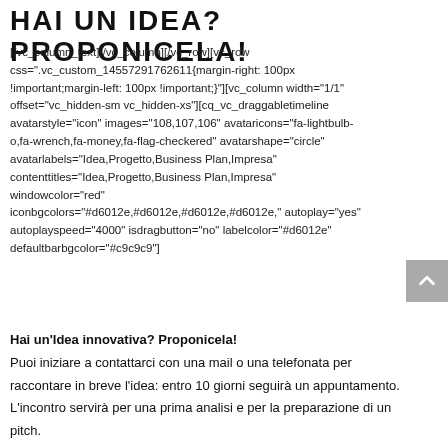HAI UN IDEA? PROPONICELA!
[/vc_column_text][/vc_column][/vc_row][vc_row css=".vc_custom_14557291762611{margin-right: 100px !important;margin-left: 100px !important;}"][vc_column width="1/1" offset="vc_hidden-sm vc_hidden-xs"][cq_vc_draggabletimeline avatarstyle="icon" images="108,107,106" avataricons="fa-lightbulb-o,fa-wrench,fa-money,fa-flag-checkered" avatarshape="circle" avatarlabels="Idea,Progetto,Business Plan,Impresa" contenttitles="Idea,Progetto,Business Plan,Impresa" windowcolor="red" iconbgcolors="#d6012e,#d6012e,#d6012e,#d6012e," autoplay="yes" autoplayspeed="4000" isdragbutton="no" labelcolor="#d6012e" defaultbarbgcolor="#c9c9c9"]
Hai un'Idea innovativa? Proponicela! Puoi iniziare a contattarci con una mail o una telefonata per raccontare in breve l'idea: entro 10 giorni seguirà un appuntamento. L'incontro servirà per una prima analisi e per la preparazione di un pitch.